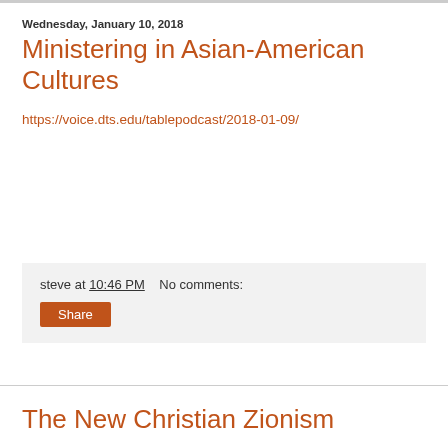Wednesday, January 10, 2018
Ministering in Asian-American Cultures
https://voice.dts.edu/tablepodcast/2018-01-09/
steve at 10:46 PM   No comments:
Share
The New Christian Zionism
https://voice.dts.edu/tablepodcast/2018-01-02/
steve at 10:44 PM   No comments:
Share
How To Argue For Sola Scriptura